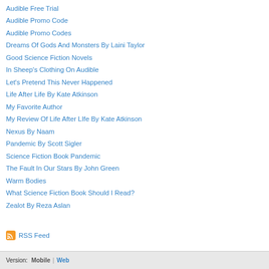Audible Free Trial
Audible Promo Code
Audible Promo Codes
Dreams Of Gods And Monsters By Laini Taylor
Good Science Fiction Novels
In Sheep's Clothing On Audible
Let's Pretend This Never Happened
Life After Life By Kate Atkinson
My Favorite Author
My Review Of Life After LIfe By Kate Atkinson
Nexus By Naam
Pandemic By Scott Sigler
Science Fiction Book Pandemic
The Fault In Our Stars By John Green
Warm Bodies
What Science Fiction Book Should I Read?
Zealot By Reza Aslan
RSS Feed
Version: Mobile | Web